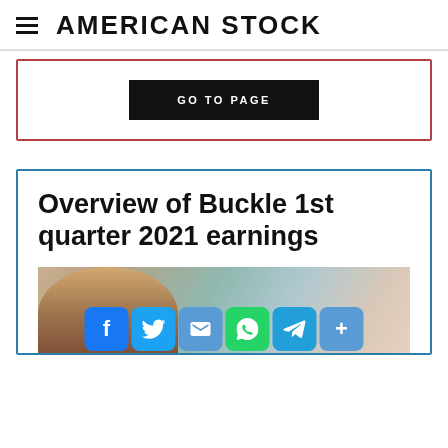AMERICAN STOCK
[Figure (other): Red-bordered card with a black 'GO TO PAGE' button]
Overview of Buckle 1st quarter 2021 earnings
[Figure (photo): Photo of a person with social media sharing buttons (Facebook, Twitter, Email, WhatsApp, Telegram, More) overlaid at the bottom]